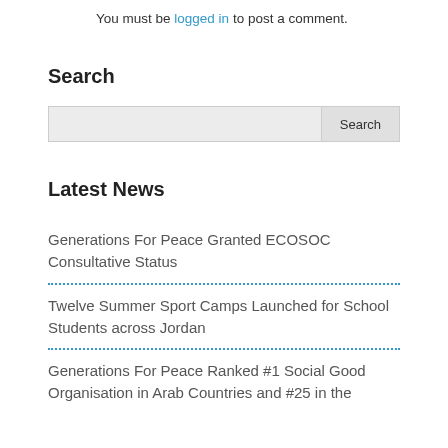You must be logged in to post a comment.
Search
Search
Latest News
Generations For Peace Granted ECOSOC Consultative Status
Twelve Summer Sport Camps Launched for School Students across Jordan
Generations For Peace Ranked #1 Social Good Organisation in Arab Countries and #25 in the